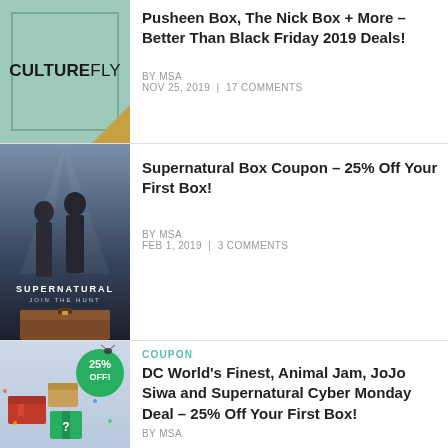[Figure (photo): CultureFly logo on teal/green background with gold corner accent]
Pusheen Box, The Nick Box + More – Better Than Black Friday 2019 Deals!
BY MSA
NOV 25, 2019 | 17 COMMENTS
[Figure (photo): Supernatural TV show promotional image with two men and wooden box, text: SUPERNATURAL JOIN THE HUNT]
Supernatural Box Coupon – 25% Off Your First Box!
BY MSA
FEB 1, 2019 | 3 COMMENTS
[Figure (photo): Assorted subscription boxes with a 25% OFF green badge and holiday decorations]
COUPON
DC World's Finest, Animal Jam, JoJo Siwa and Supernatural Cyber Monday Deal – 25% Off Your First Box!
BY MSA